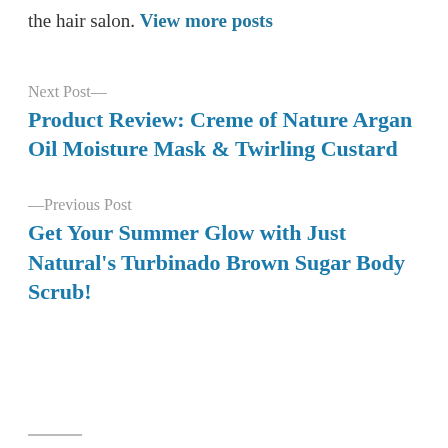the hair salon. View more posts
Next Post—
Product Review: Creme of Nature Argan Oil Moisture Mask & Twirling Custard
—Previous Post
Get Your Summer Glow with Just Natural's Turbinado Brown Sugar Body Scrub!